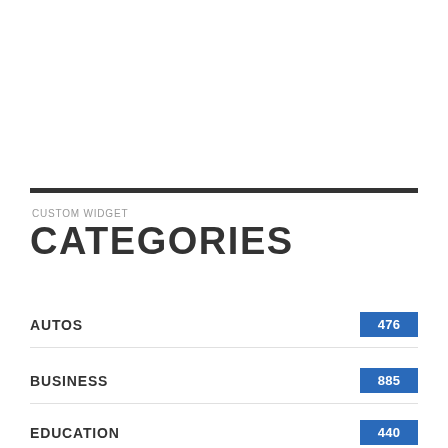CUSTOM WIDGET
CATEGORIES
AUTOS 476
BUSINESS 885
EDUCATION 440